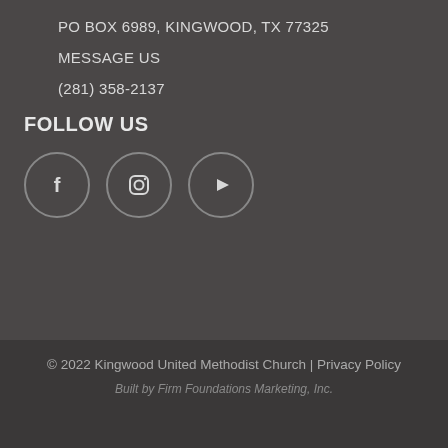PO BOX 6989, KINGWOOD, TX 77325
MESSAGE US
(281) 358-2137
FOLLOW US
[Figure (illustration): Three circular social media icons: Facebook (f), Instagram (camera), and YouTube (play button), arranged horizontally with grey circle borders on dark background.]
© 2022 Kingwood United Methodist Church | Privacy Policy
Built by Firm Foundations Marketing, Inc.